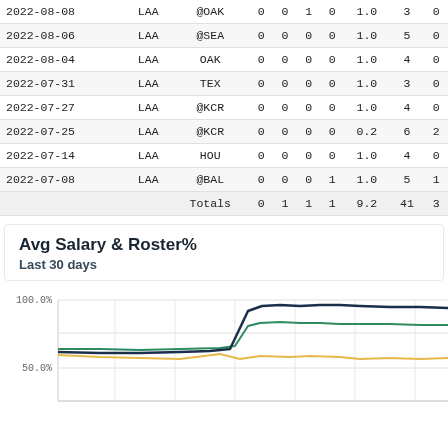| Date | Tm | Opp | W | L | SV | BS | IP | BF | ER |
| --- | --- | --- | --- | --- | --- | --- | --- | --- | --- |
| 2022-08-08 | LAA | @OAK | 0 | 0 | 1 | 0 | 1.0 | 3 | 0 |
| 2022-08-06 | LAA | @SEA | 0 | 0 | 0 | 0 | 1.0 | 5 | 0 |
| 2022-08-04 | LAA | OAK | 0 | 0 | 0 | 0 | 1.0 | 4 | 0 |
| 2022-07-31 | LAA | TEX | 0 | 0 | 0 | 0 | 1.0 | 3 | 0 |
| 2022-07-27 | LAA | @KCR | 0 | 0 | 0 | 0 | 1.0 | 4 | 0 |
| 2022-07-25 | LAA | @KCR | 0 | 0 | 0 | 0 | 0.2 | 6 | 2 |
| 2022-07-14 | LAA | HOU | 0 | 0 | 0 | 0 | 1.0 | 4 | 0 |
| 2022-07-08 | LAA | @BAL | 0 | 0 | 0 | 1 | 1.0 | 5 | 1 |
|  |  | Totals |  | 0 | 1 | 1 | 1 | 9.2 | 41 | 3 |
Avg Salary & Roster%
Last 30 days
[Figure (line-chart): Line chart showing Roster% over last 30 days. Three lines: dark navy line rising sharply around midpoint to ~90%, green line rising to ~78%, and gold/yellow line relatively flat around 60%.]